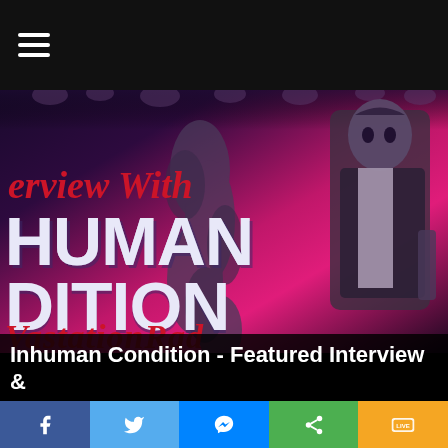[Figure (illustration): Music website screenshot showing interview graphic for 'Inhuman Condition'. Dark horror-themed album/band artwork with text 'Interview With Inhuman Condition' and 'Devastation Radio' overlaid on an illustration featuring a zombie-like man in a suit and skeletal figures on a pink/magenta background. A hamburger menu icon appears in the top-left corner on a black bar.]
Inhuman Condition - Featured Interview &
Facebook | Twitter | Messenger | Share | SMS